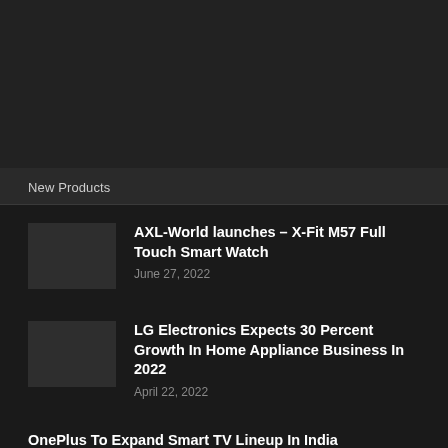[Figure (photo): Dark background image area at the top of the page]
New Products
AXL-World launches – X-Fit M57 Full Touch Smart Watch
June 27, 2022
LG Electronics Expects 30 Percent Growth In Home Appliance Business In 2022
April 22, 2022
OnePlus To Expand Smart TV Lineup In India